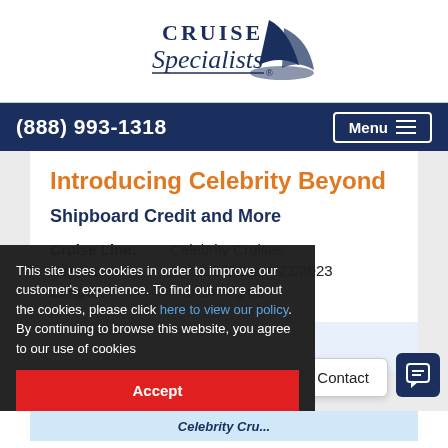[Figure (logo): Cruise Specialists logo with ship sail graphic in dark navy blue]
(888) 993-1318  Menu
Introducing Celebrity Beyond
Shipboard Credit and More
| Cruise Line: | Celebrity Cruises |
| Departure: | 10/12/2022 to 4/23/2023 |
| Length: | 7 to 14 Nights |
This site uses cookies in order to improve our customer's experience. To find out more about the cookies, please click here to view our policy. By continuing to browse this website, you agree to our use of cookies
Accept
Contact